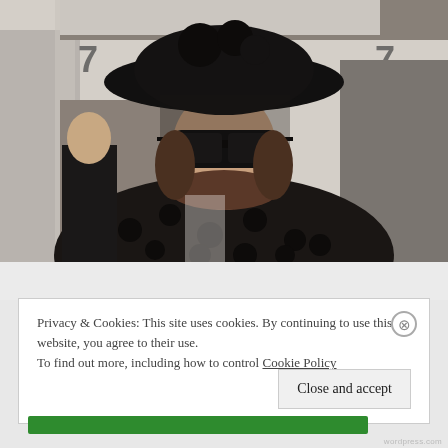[Figure (photo): A smiling woman wearing a large black decorative hat with fabric flowers, large black sunglasses with decorative netting, and a sheer black polka-dot blouse. She is photographed at what appears to be a horse racing event. Several other people are visible in the background including a man in black, a woman in white, and an elderly woman with white hair. The number 7 is visible on a wall in the background along with some blue signage.]
Privacy & Cookies: This site uses cookies. By continuing to use this website, you agree to their use. To find out more, including how to control
Cookie Policy
Close and accept